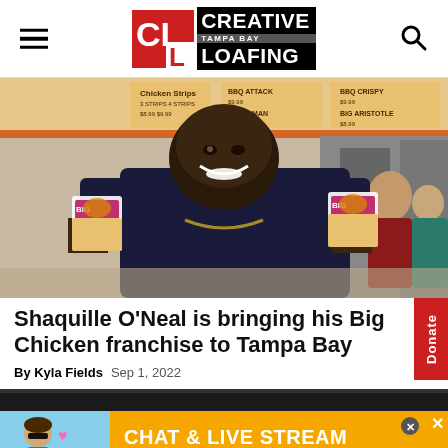Creative Loafing Tampa Bay
[Figure (photo): Shaquille O'Neal smiling and holding two Big Chicken sandwiches/boxes inside a Big Chicken restaurant, with menu boards visible in the background and staff in the right.]
Shaquille O'Neal is bringing his Big Chicken franchise to Tampa Bay
By Kyla Fields   Sep 1, 2022
[Figure (photo): Partial view of a darker image below the article title, top of a second photo.]
[Figure (photo): Advertisement banner: woman on beach, pink hearts overlay, orange background with text CHAT & LIVE STREAM and Clover logo.]